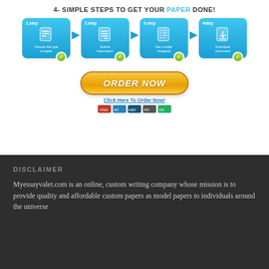[Figure (infographic): 4 simple steps to get your paper done: 1.step Choose the type of paper, 2.step Submit Information, 3.step Get a writer Assigned, 4step Download Document, with an ORDER NOW button, Click Here To Order Now link, and payment icons below.]
DISCLAIMER
Myessayvalet.com is an online, custom writing company whose mission is to provide quality and affordable custom papers as model papers to individuals around the universe